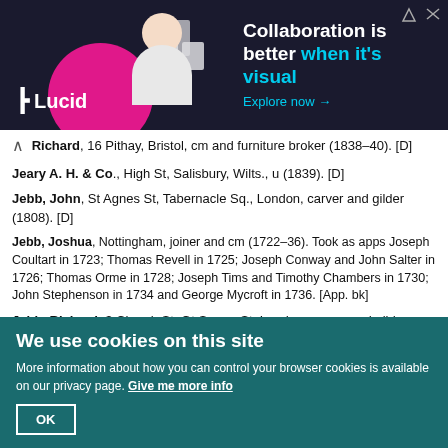[Figure (other): Lucid advertisement banner: dark background with pink circle graphic, person working at desk, paper/document shapes. Text: 'Collaboration is better when it's visual. Explore now →']
Richard, 16 Pithay, Bristol, cm and furniture broker (1838–40). [D]
Jeary A. H. & Co., High St, Salisbury, Wilts., u (1839). [D]
Jebb, John, St Agnes St, Tabernacle Sq., London, carver and gilder (1808). [D]
Jebb, Joshua, Nottingham, joiner and cm (1722–36). Took as apps Joseph Coultart in 1723; Thomas Revell in 1725; Joseph Conway and John Salter in 1726; Thomas Orme in 1728; Joseph Tims and Timothy Chambers in 1730; John Stephenson in 1734 and George Mycroft in 1736. [App. bk]
Jebb, Richard, 3 Church St, Gt Surrey St, London, carver and gilder (1826). [D]
Jebson, Thomas, Liverpool, cm (1812). App. to Thomas Dutton and free, 5 October 1812. [Freemen reg.]
We use cookies on this site
More information about how you can control your browser cookies is available on our privacy page. Give me more info
OK